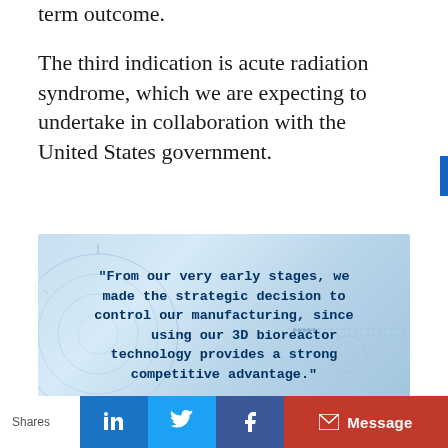term outcome.
The third indication is acute radiation syndrome, which we are expecting to undertake in collaboration with the United States government.
[Figure (infographic): Quote card with blue tech background showing: "From our very early stages, we made the strategic decision to control our manufacturing, since using our 3D bioreactor technology provides a strong competitive advantage."]
Shares  [LinkedIn] [Twitter] [Facebook] [Message]